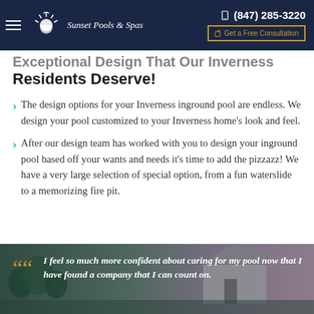Sunset Pools & Spas | (847) 285-3220 | Get a Free Consultation
Exceptional Design That Our Inverness Residents Deserve!
The design options for your Inverness inground pool are endless. We design your pool customized to your Inverness home's look and feel.
After our design team has worked with you to design your inground pool based off your wants and needs it's time to add the pizzazz! We have a very large selection of special option, from a fun waterslide to a memorizing fire pit.
[Figure (photo): Outdoor pool and house photo with testimonial overlay: 'I feel so much more confident about caring for my pool now that I have found a company that I can count on.']